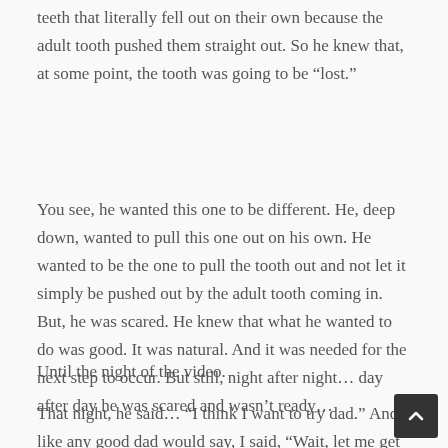teeth that literally fell out on their own because the adult tooth pushed them straight out. So he knew that, at some point, the tooth was going to be “lost.”
You see, he wanted this one to be different. He, deep down, wanted to pull this one out on his own. He wanted to be the one to pull the tooth out and not let it simply be pushed out by the adult tooth coming in. But, he was scared. He knew that what he wanted to do was good. It was natural. And it was needed for the next step to occur. But still, night after night… day after day he was scared and wasn’t ready…
Until the night of the video.
That night, he said… “I think I want to try dad.” And, like any good dad would say, I said, “Wait, let me get my phone to record it coming out!” The video that you